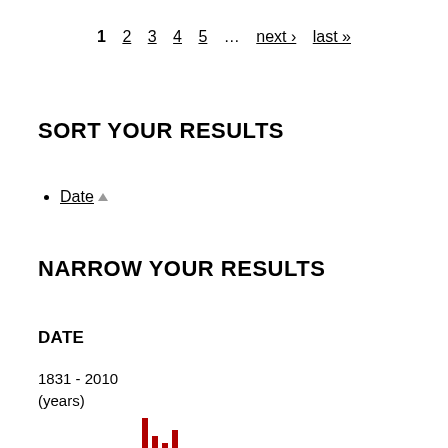1  2  3  4  5  …  next ›  last »
SORT YOUR RESULTS
Date ▲
NARROW YOUR RESULTS
DATE
1831 - 2010
(years)
[Figure (histogram): Bar chart showing document counts by date range from 1831 to 2010, with red bars of varying heights]